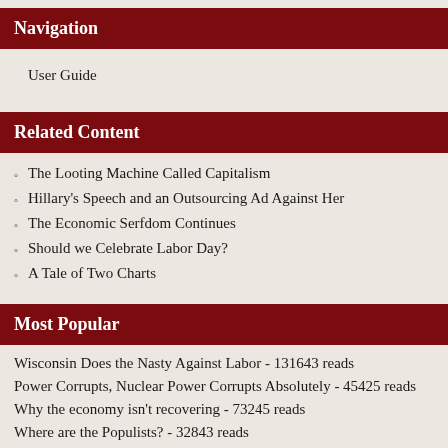Navigation
User Guide
Related Content
The Looting Machine Called Capitalism
Hillary's Speech and an Outsourcing Ad Against Her
The Economic Serfdom Continues
Should we Celebrate Labor Day?
A Tale of Two Charts
Most Popular
Wisconsin Does the Nasty Against Labor - 131643 reads
Power Corrupts, Nuclear Power Corrupts Absolutely - 45425 reads
Why the economy isn't recovering - 73245 reads
Where are the Populists? - 32843 reads